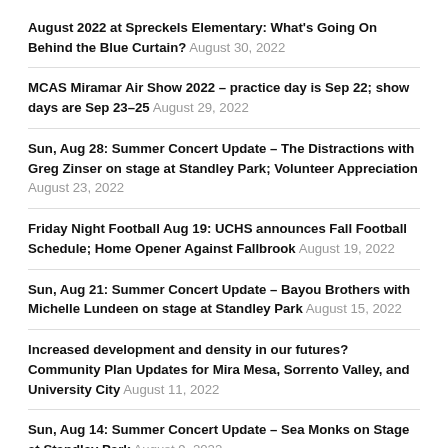August 2022 at Spreckels Elementary: What's Going On Behind the Blue Curtain? August 30, 2022
MCAS Miramar Air Show 2022 – practice day is Sep 22; show days are Sep 23–25 August 29, 2022
Sun, Aug 28: Summer Concert Update – The Distractions with Greg Zinser on stage at Standley Park; Volunteer Appreciation August 23, 2022
Friday Night Football Aug 19: UCHS announces Fall Football Schedule; Home Opener Against Fallbrook August 19, 2022
Sun, Aug 21: Summer Concert Update – Bayou Brothers with Michelle Lundeen on stage at Standley Park August 15, 2022
Increased development and density in our futures? Community Plan Updates for Mira Mesa, Sorrento Valley, and University City August 11, 2022
Sun, Aug 14: Summer Concert Update – Sea Monks on Stage at Standley Park August 9, 2022